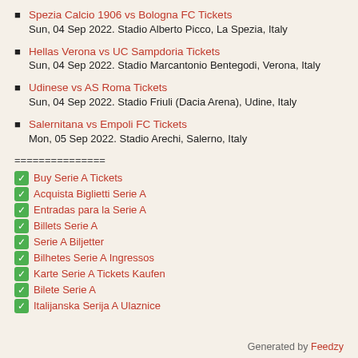Spezia Calcio 1906 vs Bologna FC Tickets
Sun, 04 Sep 2022. Stadio Alberto Picco, La Spezia, Italy
Hellas Verona vs UC Sampdoria Tickets
Sun, 04 Sep 2022. Stadio Marcantonio Bentegodi, Verona, Italy
Udinese vs AS Roma Tickets
Sun, 04 Sep 2022. Stadio Friuli (Dacia Arena), Udine, Italy
Salernitana vs Empoli FC Tickets
Mon, 05 Sep 2022. Stadio Arechi, Salerno, Italy
===============
✅ Buy Serie A Tickets
✅ Acquista Biglietti Serie A
✅ Entradas para la Serie A
✅ Billets Serie A
✅ Serie A Biljetter
✅ Bilhetes Serie A Ingressos
✅ Karte Serie A Tickets Kaufen
✅ Bilete Serie A
✅ Italijanska Serija A Ulaznice
Generated by Feedzy